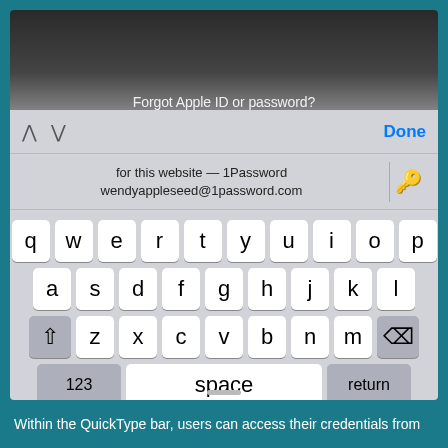[Figure (screenshot): iOS keyboard screenshot showing QuickType bar with 1Password credential suggestion for wendyappleseed@1password.com, with standard QWERTY keyboard layout below]
Within the QuickType bar, users can access their credentials from